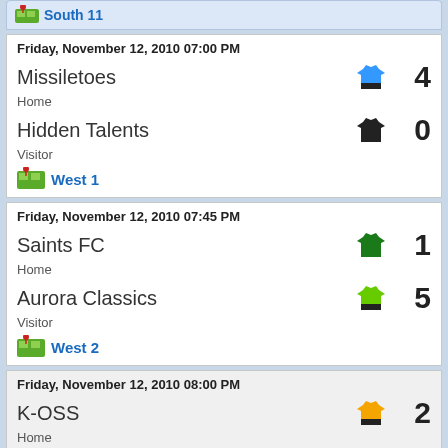South 11
Friday, November 12, 2010 07:00 PM
Missiletoes
Home
Hidden Talents
Visitor
West 1
Score: 4 - 0
Friday, November 12, 2010 07:45 PM
Saints FC
Home
Aurora Classics
Visitor
West 2
Score: 1 - 5
Friday, November 12, 2010 08:00 PM
K-OSS
Home
Celtic FC Classics
Visitor
West 1
Score: 2 - 1
Saturday, November 13, 2010 09:15 PM